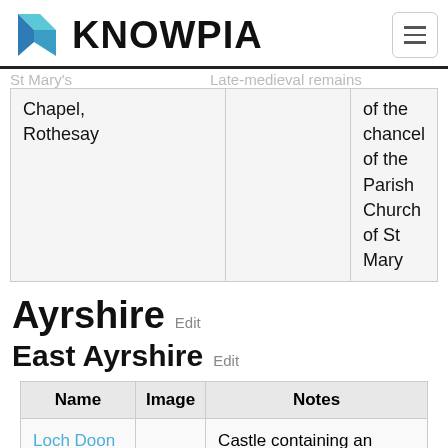KNOWPIA
| Name |  | Notes |
| --- | --- | --- |
| Chapel, Rothesay |  | of the chancel of the Parish Church of St Mary |
Ayrshire Edit
East Ayrshire Edit
| Name | Image | Notes |
| --- | --- | --- |
| Loch Doon Castle |  | Castle containing an eleven-sided curtain wall of fine masonry |
| Rowallan Castle |  | Castle set in rolling Ayrshire parkland |